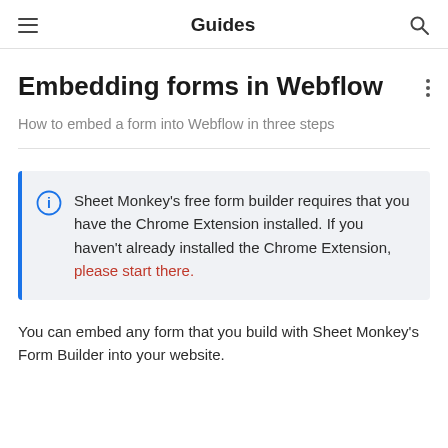Guides
Embedding forms in Webflow
How to embed a form into Webflow in three steps
Sheet Monkey's free form builder requires that you have the Chrome Extension installed. If you haven't already installed the Chrome Extension, please start there.
You can embed any form that you build with Sheet Monkey's Form Builder into your website.